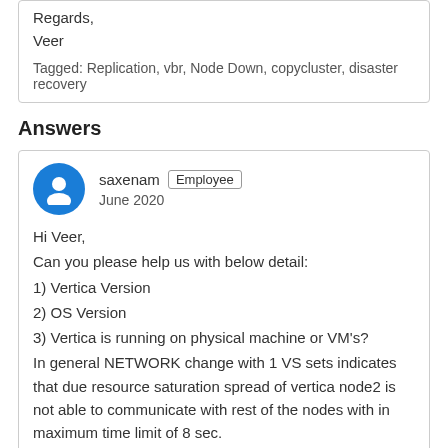Regards,
Veer
Tagged: Replication, vbr, Node Down, copycluster, disaster recovery
Answers
[Figure (illustration): User avatar icon — blue circle with white person silhouette]
saxenam Employee
June 2020
Hi Veer,
Can you please help us with below detail:
1) Vertica Version
2) OS Version
3) Vertica is running on physical machine or VM's?
In general NETWORK change with 1 VS sets indicates that due resource saturation spread of vertica node2 is not able to communicate with rest of the nodes with in maximum time limit of 8 sec.